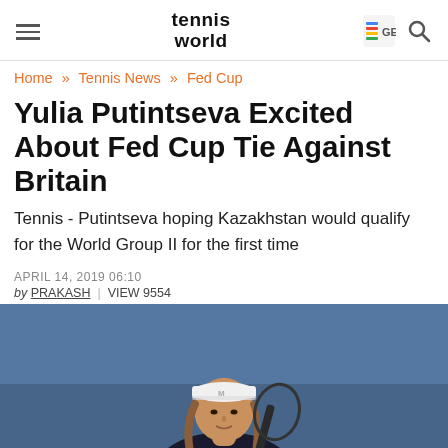tennis world — navigation header with hamburger menu, logo, Google News icon, and search icon
Home » Tennis News » Fed Cup
Yulia Putintseva Excited About Fed Cup Tie Against Britain
Tennis - Putintseva hoping Kazakhstan would qualify for the World Group II for the first time
APRIL 14, 2019 06:10
by PRAKASH  |  VIEW 9554
[Figure (photo): Photo of Yulia Putintseva, a tennis player, wearing a white Mizuno cap, photographed from shoulders up with a blue background]